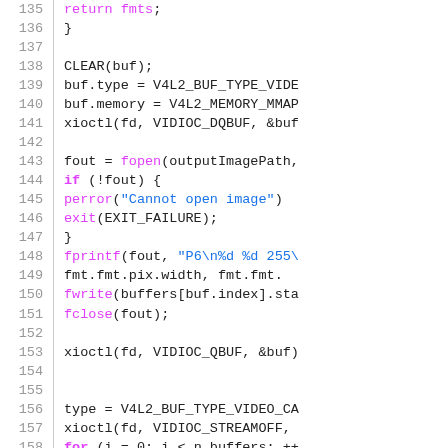[Figure (screenshot): Source code listing showing C code lines 135-159 with line numbers, featuring V4L2 video capture code with syntax highlighting. Keywords and function names in magenta/pink, string literals in blue, regular code in dark/black.]